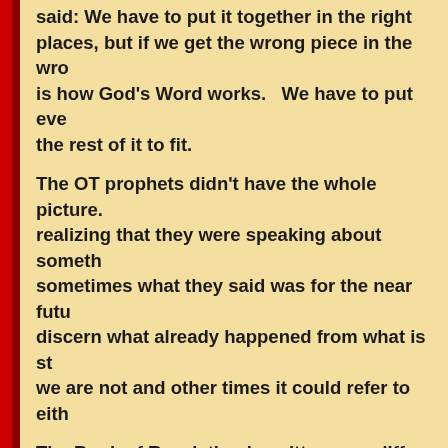said: We have to put it together in the right places, but if we get the wrong piece in the wrong place, it disrupts is how God's Word works. We have to put every piece in the right place for the rest of it to fit.
The OT prophets didn't have the whole picture. They weren't realizing that they were speaking about something bigger than themselves, sometimes what they said was for the near future and sometimes we have to discern what already happened from what is still future. Sometimes we are not and other times it could refer to either.
The Book of Revelation is written very differently from any other book for reason. There are 7 seals, 7 trumpets, and 7 bowls. It isn't that the 7 seals are opened, one to seven, and then the trumpets. They all run along the timeline. Sometimes we are told specifically like the tribulation period is for 3 1/2 years. So we know we are half way through when...
The best way to study the Bible is to look up ALL the scriptures and apply this principle in discerning the Word of God. Every time we find a seeming contradiction, or when someone tells us something one thing is certain: God didn't make a mistake.